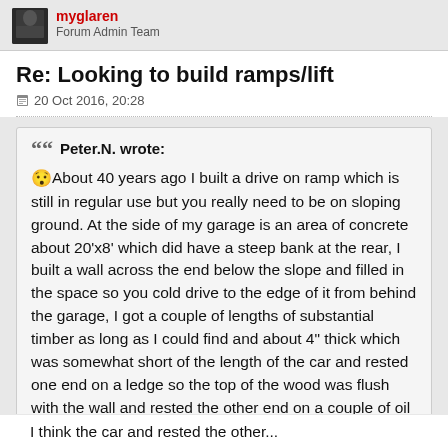myglaren
Forum Admin Team
Re: Looking to build ramps/lift
20 Oct 2016, 20:28
Peter.N. wrote:
😯 About 40 years ago I built a drive on ramp which is still in regular use but you really need to be on sloping ground. At the side of my garage is an area of concrete about 20'x8' which did have a steep bank at the rear, I built a wall across the end below the slope and filled in the space so you cold drive to the edge of it from behind the garage, I got a couple of lengths of substantial timber as long as I could find and about 4" thick which was somewhat short of the length of the car and rested one end on a ledge so the top of the wood was flush with the wall and rested the other end on a couple of oil drums.
I think the page is cut off here.